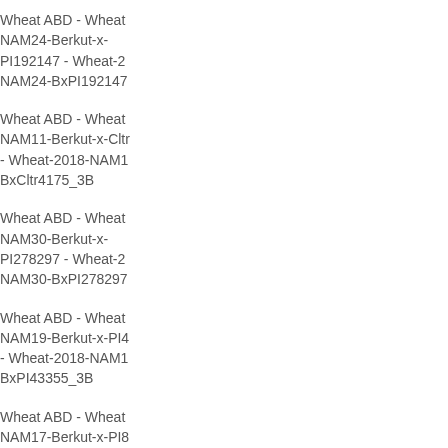Wheat ABD - Wheat NAM24-Berkut-x-PI192147 - Wheat-2018-NAM24-BxPI192147
Wheat ABD - Wheat NAM11-Berkut-x-Cltr - Wheat-2018-NAM11-BxCltr4175_3B
Wheat ABD - Wheat NAM30-Berkut-x-PI278297 - Wheat-2018-NAM30-BxPI278297
Wheat ABD - Wheat NAM19-Berkut-x-PI43355 - Wheat-2018-NAM19-BxPI43355_3B
Wheat ABD - Wheat NAM17-Berkut-x-PI82469 - Wheat-2018-NAM17-BxPI82469_3B
Wheat ABD - Wheat NAM30-Berkut-x-PI278297 - Wheat-2018-NAM30-BxPI278297
Wheat ABD - Wheat NAM28-Berkut-x-...